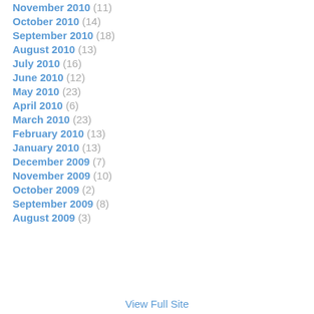November 2010 (11)
October 2010 (14)
September 2010 (18)
August 2010 (13)
July 2010 (16)
June 2010 (12)
May 2010 (23)
April 2010 (6)
March 2010 (23)
February 2010 (13)
January 2010 (13)
December 2009 (7)
November 2009 (10)
October 2009 (2)
September 2009 (8)
August 2009 (3)
View Full Site